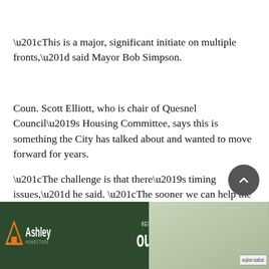“This is a major, significant initiate on multiple fronts,” said Mayor Bob Simpson.
Coun. Scott Elliott, who is chair of Quesnel Council’s Housing Committee, says this is something the City has talked about and wanted to move forward for years.
“The challenge is that there’s timing issues,” he said. “The sooner we can help the people out, the better, but it’s got to be done correctly.”
[Figure (other): Ashley HomeStore advertisement: REINTRODUCING outdoor, with explore outdoor button, dark green background with outdoor furniture image]